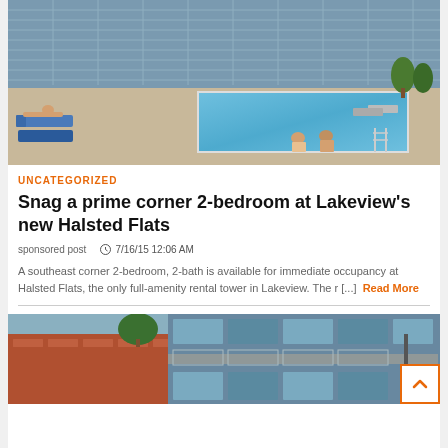[Figure (photo): Outdoor rooftop pool at a modern high-rise apartment building with people lounging and sitting by the pool edge]
UNCATEGORIZED
Snag a prime corner 2-bedroom at Lakeview's new Halsted Flats
sponsored post   🕐 7/16/15 12:06 AM
A southeast corner 2-bedroom, 2-bath is available for immediate occupancy at Halsted Flats, the only full-amenity rental tower in Lakeview. The r [...] Read More
[Figure (photo): Modern apartment building exterior with glass balconies and brick facade]